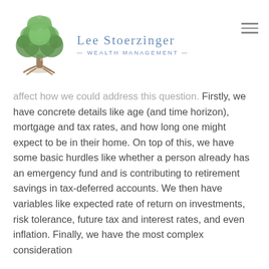Lee Stoerzinger Wealth Management
affect how we could address this question. Firstly, we have concrete details like age (and time horizon), mortgage and tax rates, and how long one might expect to be in their home. On top of this, we have some basic hurdles like whether a person already has an emergency fund and is contributing to retirement savings in tax-deferred accounts. We then have variables like expected rate of return on investments, risk tolerance, future tax and interest rates, and even inflation. Finally, we have the most complex consideration